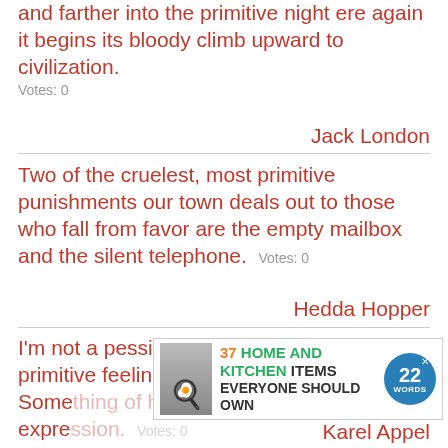and farther into the primitive night ere again it begins its bloody climb upward to civilization. Votes: 0
Jack London
Two of the cruelest, most primitive punishments our town deals out to those who fall from favor are the empty mailbox and the silent telephone. Votes: 0
Hedda Hopper
I'm not a pessimist. Maybe I don't have a primitive feeling of happiness, that is. Some... expression. Votes: 0
[Figure (screenshot): Advertisement banner: '37 HOME AND KITCHEN ITEMS EVERYONE SHOULD OWN' with a '22 WORDS' badge and a CLOSE button]
Karel Appel